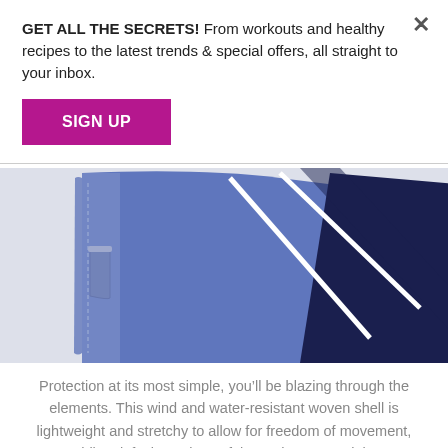GET ALL THE SECRETS! From workouts and healthy recipes to the latest trends & special offers, all straight to your inbox.
SIGN UP
[Figure (photo): Close-up of a blue and navy wind/water-resistant woven athletic jacket or top showing a left zip pocket with white seam detailing.]
Protection at its most simple, you’ll be blazing through the elements. This wind and water-resistant woven shell is lightweight and stretchy to allow for freedom of movement, while a left zip pocket safely stashes essentials.